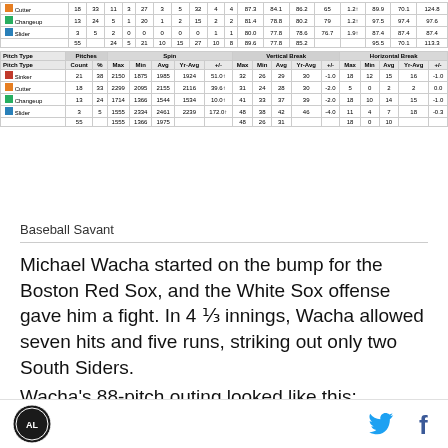| Pitch Type | Count | % | Max | Min | Avg | Yr-Avg | +/- | Max | Min | Avg | Yr-Avg | +/- | Max | Min | Avg | Yr-Avg | +/- |
| --- | --- | --- | --- | --- | --- | --- | --- | --- | --- | --- | --- | --- | --- | --- | --- | --- | --- |
| Sinker | 21 | 38 | 2150 | 1875 | 1985 | 1924 | 51.0↑ | 32 | 26 | 29 | 30 | -1.0 | 18 | 12 | 15 | 16 | -1.0 |
| Cutter | 18 | 33 | 2299 | 2095 | 2155 | 2116 | 39.6↑ | 31 | 24 | 28 | 30 | -2.0 | 5 | 0 | 2 | 2 | 0.0 |
| Changeup | 13 | 24 | 1714 | 1366 | 1544 | 1534 | 10.0↑ | 41 | 33 | 37 | 39 | -2.0 | 18 | 10 | 14 | 15 | -1.0 |
| Slider | 3 | 5 | 1555 | 2334 | 2461 | 2239 | 172.0↑ | 48 | 38 | 42 | 46 | -4.0 | 11 | 4 | 7 | 18 | -0.3 |
|  | 55 |  | 1555 | 1366 | 1975 |  |  | 48 | 26 | 31 |  |  | 18 | 0 | 10 |  |  |
Baseball Savant
Michael Wacha started on the bump for the Boston Red Sox, and the White Sox offense gave him a fight. In 4 1⁄3 innings, Wacha allowed seven hits and five runs, striking out only two South Siders.
Wacha's 88-pitch outing looked like this:
[Figure (screenshot): Baseball Savant Michael Wacha pitch chart screenshot header]